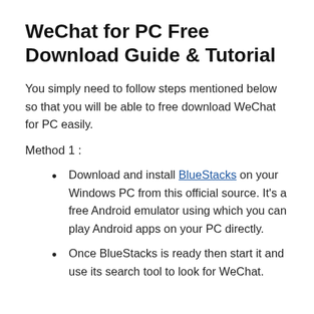WeChat for PC Free Download Guide & Tutorial
You simply need to follow steps mentioned below so that you will be able to free download WeChat for PC easily.
Method 1 :
Download and install BlueStacks on your Windows PC from this official source. It's a free Android emulator using which you can play Android apps on your PC directly.
Once BlueStacks is ready then start it and use its search tool to look for WeChat.